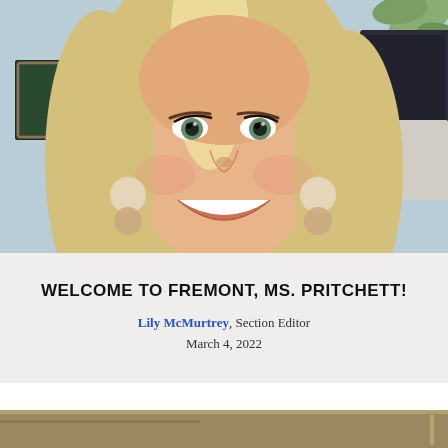[Figure (photo): Close-up photo of a smiling blonde woman with earrings, indoors with a plant in the background]
WELCOME TO FREMONT, MS. PRITCHETT!
Lily McMurtrey, Section Editor
March 4, 2022
[Figure (photo): Partial view of a second photo, showing a golden-brown surface or object, cropped at bottom of page]